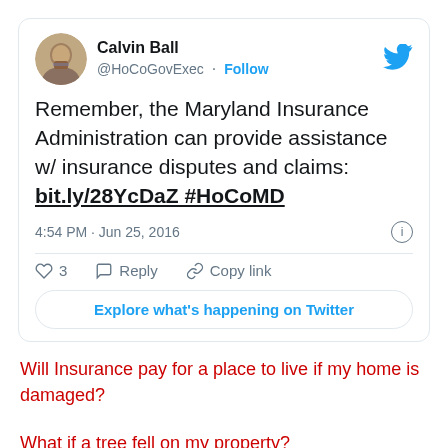[Figure (screenshot): Tweet screenshot from Calvin Ball (@HoCoGovExec) with follow button and Twitter bird logo. Tweet text: 'Remember, the Maryland Insurance Administration can provide assistance w/ insurance disputes and claims: bit.ly/28YcDaZ #HoCoMD'. Posted at 4:54 PM · Jun 25, 2016. Actions: 3 likes, Reply, Copy link. Button: Explore what's happening on Twitter.]
Will Insurance pay for a place to live if my home is damaged?
What if a tree fell on my property?